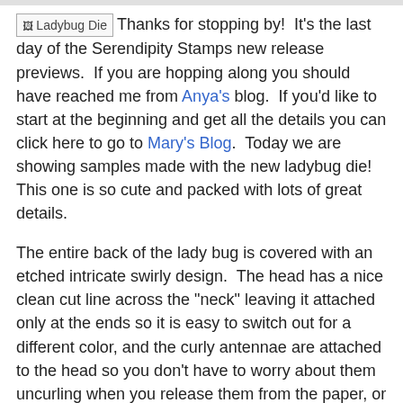[Ladybug Die] Thanks for stopping by!  It's the last day of the Serendipity Stamps new release previews.  If you are hopping along you should have reached me from Anya's blog.  If you'd like to start at the beginning and get all the details you can click here to go to Mary's Blog.  Today we are showing samples made with the new ladybug die!  This one is so cute and packed with lots of great details.
The entire back of the lady bug is covered with an etched intricate swirly design.  The head has a nice clean cut line across the "neck" leaving it attached only at the ends so it is easy to switch out for a different color, and the curly antennae are attached to the head so you don't have to worry about them uncurling when you release them from the paper, or when you peel off the wax paper when you remove them.  A layer of wax paper between the die and your card stock makes releasing an intricate die Easy Peasy!
I have lots of great memories of sitting in the garden as a child or with my own children finding ladybugs, counting their spots to see if we are lucky, and singing "ladybug, ladybug